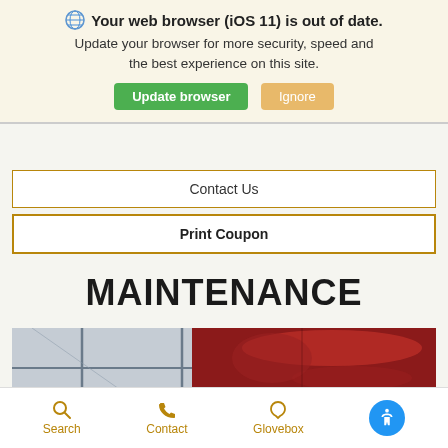Your web browser (iOS 11) is out of date. Update your browser for more security, speed and the best experience on this site. Update browser | Ignore
Contact Us
Print Coupon
MAINTENANCE
[Figure (photo): Photo of a red car parked in a showroom or dealership, partial view showing the hood and side panel with window reflections]
Search  Contact  Glovebox  [Accessibility icon]